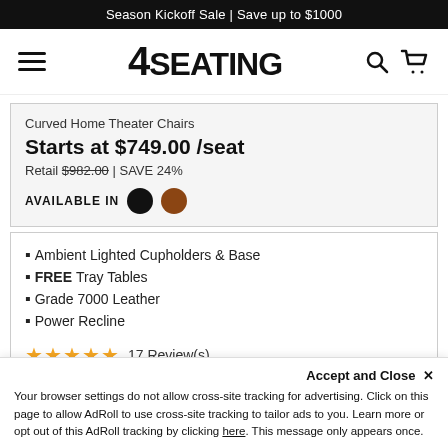Season Kickoff Sale | Save up to $1000
[Figure (logo): 4SEATING logo with hamburger menu, search and cart icons]
Curved Home Theater Chairs
Starts at $749.00 /seat
Retail $982.00 | SAVE 24%
AVAILABLE IN [black dot] [brown dot]
Ambient Lighted Cupholders & Base
FREE Tray Tables
Grade 7000 Leather
Power Recline
★★★★★ 17 Review(s)
Accept and Close ✕
Your browser settings do not allow cross-site tracking for advertising. Click on this page to allow AdRoll to use cross-site tracking to tailor ads to you. Learn more or opt out of this AdRoll tracking by clicking here. This message only appears once.